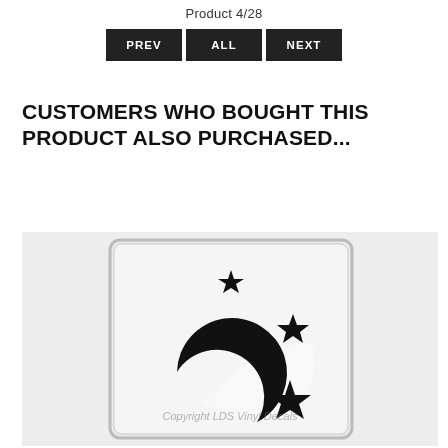Product 4/28
[Figure (screenshot): Navigation buttons: PREV, ALL, NEXT on dark background]
CUSTOMERS WHO BOUGHT THIS PRODUCT ALSO PURCHASED...
[Figure (photo): Glass block with black crescent moon and stars vinyl decal. Watermark reads: Copyright LDS Vinyl Decals]